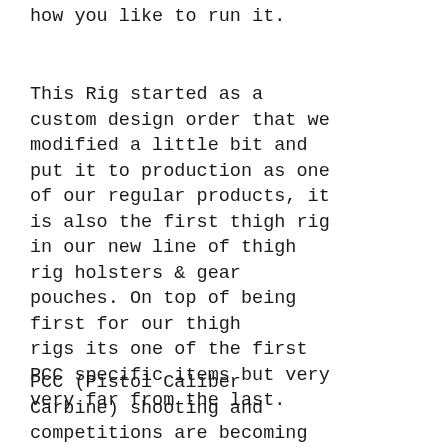how you like to run it.
This Rig started as a custom design order that we modified a little bit and put it to production as one of our regular products, it is also the first thigh rig in our new line of thigh rig holsters & gear pouches. On top of being first for our thigh rigs its one of the first PCC specific items but very very far from the last.
PCC (Pistol Caliber Carbine) shooting and competitions are becoming